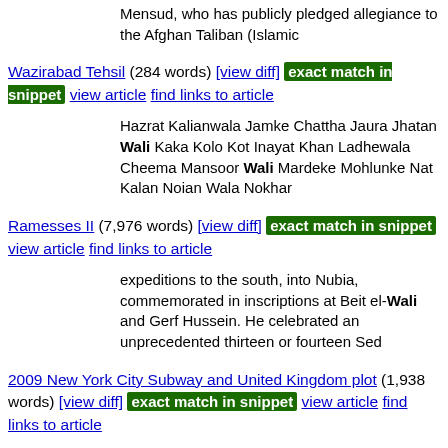Mensud, who has publicly pledged allegiance to the Afghan Taliban (Islamic
Wazirabad Tehsil (284 words) [view diff] exact match in snippet view article find links to article
Hazrat Kalianwala Jamke Chattha Jaura Jhatan Wali Kaka Kolo Kot Inayat Khan Ladhewala Cheema Mansoor Wali Mardeke Mohlunke Nat Kalan Noian Wala Nokhar
Ramesses II (7,976 words) [view diff] exact match in snippet view article find links to article
expeditions to the south, into Nubia, commemorated in inscriptions at Beit el-Wali and Gerf Hussein. He celebrated an unprecedented thirteen or fourteen Sed
2009 New York City Subway and United Kingdom plot (1,938 words) [view diff] exact match in snippet view article find links to article
smells, or with multiple window fans. Najibullah Zazi, his father Mohammed Wali Zazi (born 1955 in Afghanistan), and imam Ahmad Wais Afzali